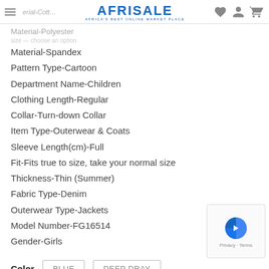AFRISALE - AFRICA'S BEST ONLINE MARKET PLACE
Material-Polyester
Material-Spandex
Pattern Type-Cartoon
Department Name-Children
Clothing Length-Regular
Collar-Turn-down Collar
Item Type-Outerwear & Coats
Sleeve Length(cm)-Full
Fit-Fits true to size, take your normal size
Thickness-Thin (Summer)
Fabric Type-Denim
Outerwear Type-Jackets
Model Number-FG16514
Gender-Girls
Color   BLUE   DEEP DRAY